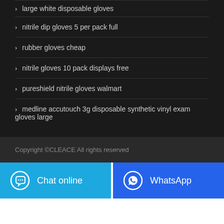> large white disposable gloves
> nitrile dip gloves 5 per pack full
> rubber gloves cheap
> nitrile gloves 10 pack displays free
> pureshield nitrile gloves walmart
> medline accutouch 3g disposable synthetic vinyl exam gloves large
Copyright ©CLEACE All rights reserved
Chat online
WhatsApp